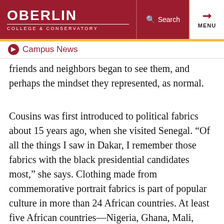OBERLIN COLLEGE & CONSERVATORY — Search — MENU
Campus News
friends and neighbors began to see them, and perhaps the mindset they represented, as normal.
Cousins was first introduced to political fabrics about 15 years ago, when she visited Senegal. “Of all the things I saw in Dakar, I remember those fabrics with the black presidential candidates most,” she says. Clothing made from commemorative portrait fabrics is part of popular culture in more than 24 African countries. At least five African countries—Nigeria, Ghana, Mali, Tanzania, and South Africa—have printed fabric honoring the United States’